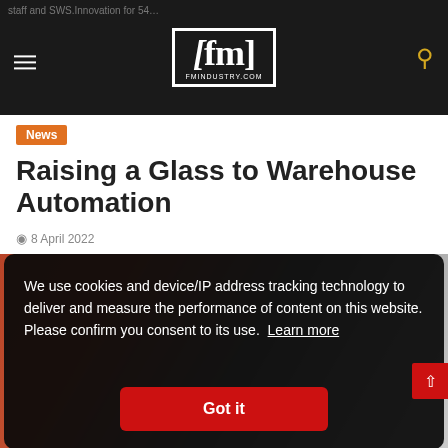fm fmindustry.com
News
Raising a Glass to Warehouse Automation
8 April 2022
[Figure (photo): Warehouse interior with robotic equipment and red forklifts]
We use cookies and device/IP address tracking technology to deliver and measure the performance of content on this website. Please confirm you consent to its use. Learn more
Got it